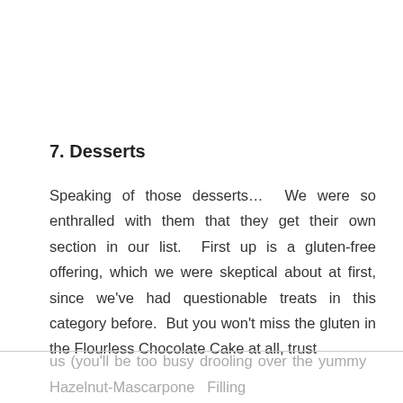7. Desserts
Speaking of those desserts…  We were so enthralled with them that they get their own section in our list.  First up is a gluten-free offering, which we were skeptical about at first, since we've had questionable treats in this category before.  But you won't miss the gluten in the Flourless Chocolate Cake at all, trust us (you'll be too busy drooling over the yummy  Hazelnut-Mascarpone  Filling